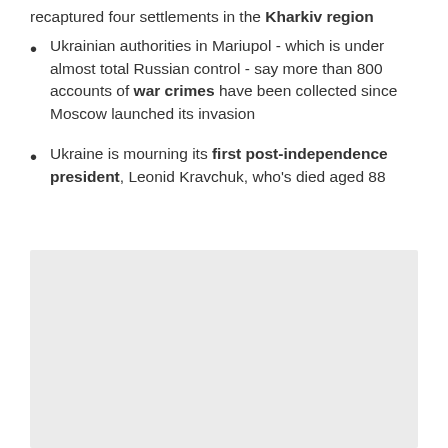recaptured four settlements in the Kharkiv region
Ukrainian authorities in Mariupol - which is under almost total Russian control - say more than 800 accounts of war crimes have been collected since Moscow launched its invasion
Ukraine is mourning its first post-independence president, Leonid Kravchuk, who's died aged 88
[Figure (photo): Gray placeholder image area at the bottom of the page]